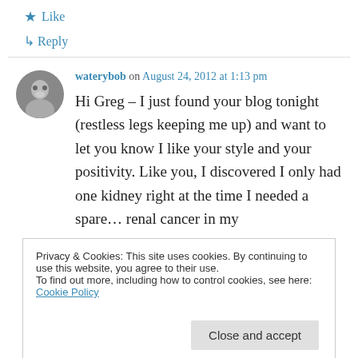★ Like
↳ Reply
waterybob on August 24, 2012 at 1:13 pm
Hi Greg – I just found your blog tonight (restless legs keeping me up) and want to let you know I like your style and your positivity. Like you, I discovered I only had one kidney right at the time I needed a spare… renal cancer in my
Privacy & Cookies: This site uses cookies. By continuing to use this website, you agree to their use.
To find out more, including how to control cookies, see here: Cookie Policy
Close and accept
me, sisth...